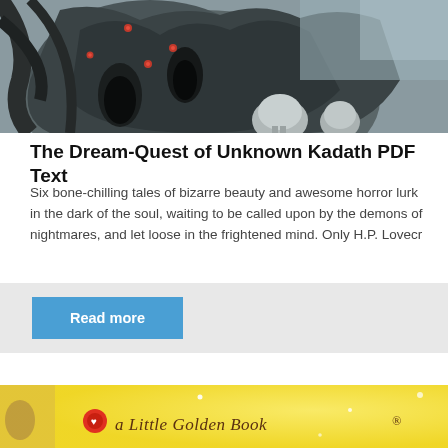[Figure (illustration): Dark horror illustration showing grotesque faces with glowing red eyes and open mouths, skulls visible, in grey/charcoal tones. Top portion of a book cover for The Dream-Quest of Unknown Kadath.]
The Dream-Quest of Unknown Kadath PDF Text
Six bone-chilling tales of bizarre beauty and awesome horror lurk in the dark of the soul, waiting to be called upon by the demons of nightmares, and let loose in the frightened mind. Only H.P. Lovecr
[Figure (screenshot): Grey bar with a blue 'Read more' button]
[Figure (illustration): Bottom portion showing a yellow background with text 'a Little Golden Book' in script font with small decorative characters visible on the left side.]